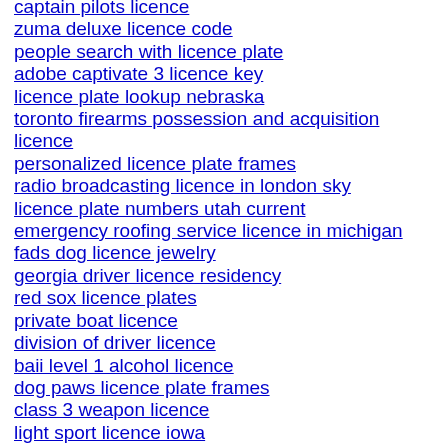captain pilots licence
zuma deluxe licence code
people search with licence plate
adobe captivate 3 licence key
licence plate lookup nebraska
toronto firearms possession and acquisition licence
personalized licence plate frames
radio broadcasting licence in london sky
licence plate numbers utah current
emergency roofing service licence in michigan
fads dog licence jewelry
georgia driver licence residency
red sox licence plates
private boat licence
division of driver licence
baii level 1 alcohol licence
dog paws licence plate frames
class 3 weapon licence
light sport licence iowa
rrt licence for maryland